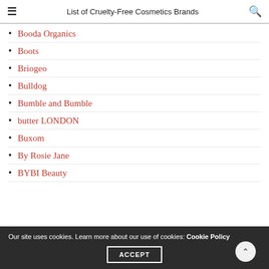List of Cruelty-Free Cosmetics Brands
Booda Organics
Boots
Briogeo
Bulldog
Bumble and Bumble
butter LONDON
Buxom
By Rosie Jane
BYBI Beauty
Our site uses cookies. Learn more about our use of cookies: Cookie Policy
ACCEPT